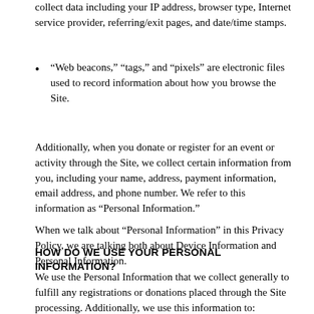collect data including your IP address, browser type, Internet service provider, referring/exit pages, and date/time stamps.
“Web beacons,” “tags,” and “pixels” are electronic files used to record information about how you browse the Site.
Additionally, when you donate or register for an event or activity through the Site, we collect certain information from you, including your name, address, payment information, email address, and phone number. We refer to this information as “Personal Information.”
When we talk about “Personal Information” in this Privacy Policy, we are talking both about Device Information and Personal Information.
HOW DO WE USE YOUR PERSONAL INFORMATION?
We use the Personal Information that we collect generally to fulfill any registrations or donations placed through the Site processing. Additionally, we use this information to:
Communicate with...